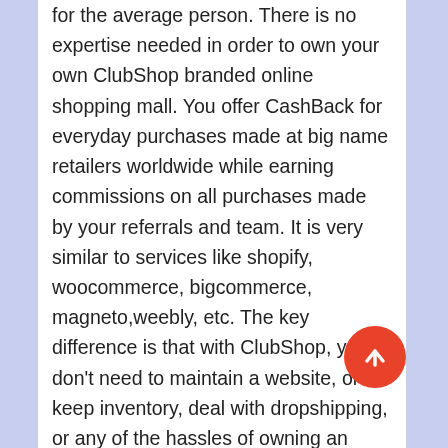for the average person. There is no expertise needed in order to own your own ClubShop branded online shopping mall. You offer CashBack for everyday purchases made at big name retailers worldwide while earning commissions on all purchases made by your referrals and team. It is very similar to services like shopify, woocommerce, bigcommerce, magneto,weebly, etc. The key difference is that with ClubShop, you don't need to maintain a website, or keep inventory, deal with dropshipping, or any of the hassles of owning an online business. As a Partner member you not only get your own pre-made ClubShop Online Shopping mall, you also get shares in the Company's worldwide marketing efforts.
ClubShop offers multiple membership levels. A Shopper membership is free for anyone around the